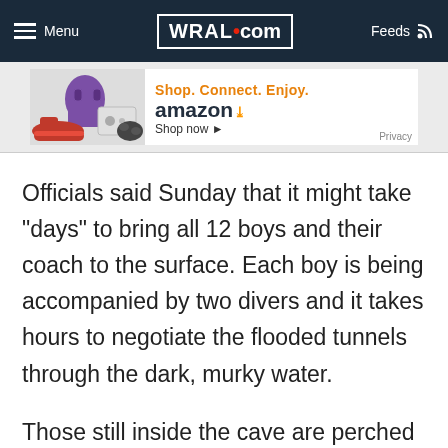Menu | WRAL.com | Feeds
[Figure (screenshot): Amazon advertisement banner: Shop. Connect. Enjoy. amazon Shop now. Privacy.]
Officials said Sunday that it might take "days" to bring all 12 boys and their coach to the surface. Each boy is being accompanied by two divers and it takes hours to negotiate the flooded tunnels through the dark, murky water.
Those still inside the cave are perched on a small muddy ledge, surrounded by